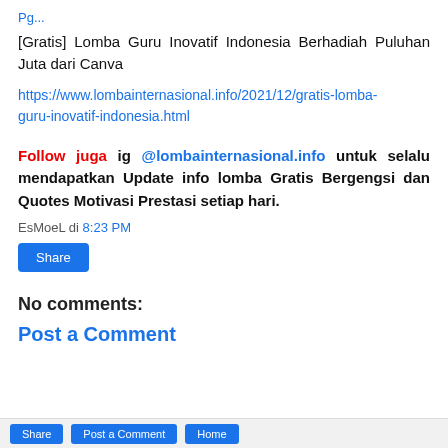[Gratis] Lomba Guru Inovatif Indonesia Berhadiah Puluhan Juta dari Canva
https://www.lombainternasional.info/2021/12/gratis-lomba-guru-inovatif-indonesia.html
Follow juga ig @lombainternasional.info untuk selalu mendapatkan Update info lomba Gratis Bergengsi dan Quotes Motivasi Prestasi setiap hari.
EsMoeL di 8:23 PM
Share
No comments:
Post a Comment